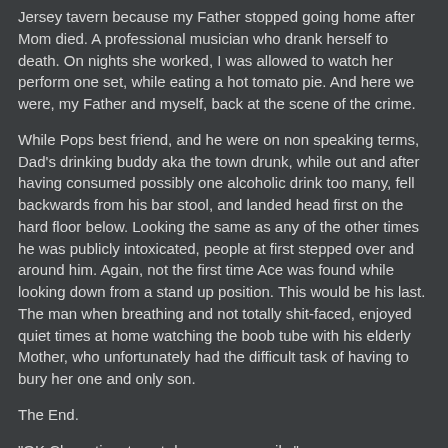Jersey tavern because my Father stopped going home after Mom died. A professional musician who drank herself to death. On nights she worked, I was allowed to watch her perform one set, while eating a hot tomato pie. And here we were, my Father and myself, back at the scene of the crime.
While Pops best friend, and he were on non speaking terms, Dad's drinking buddy aka the town drunk, while out and after having consumed possibly one alcoholic drink too many, fell backwards from his bar stool, and landed head first on the hard floor below. Looking the same as any of the other times he was publicly intoxicated, people at first stepped over and around him. Again, not the first time Ace was found while looking down from a stand up position. This would be his last. The man when breathing and not totally shit-faced, enjoyed quiet times at home watching the boob tube with his elderly Mother, who unfortunately had the difficult task of having to bury her one and only son.
The End.
"OK Class, time to put down your pencils."